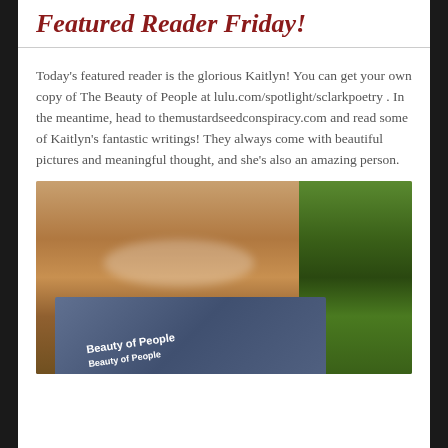Featured Reader Friday!
Today's featured reader is the glorious Kaitlyn! You can get your own copy of The Beauty of People at lulu.com/spotlight/sclarkpoetry . In the meantime, head to themustardseedconspiracy.com and read some of Kaitlyn's fantastic writings! They always come with beautiful pictures and meaningful thought, and she's also an amazing person.
[Figure (photo): A smiling woman with blonde/brown hair holding a book titled 'Beauty of People', with green plants visible on the right side of the image.]